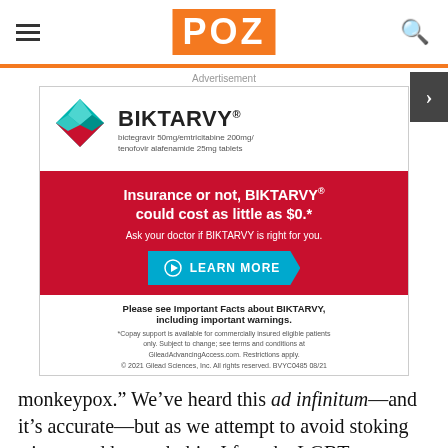POZ
Advertisement
[Figure (infographic): BIKTARVY advertisement. Shows a red diamond pill logo and drug name 'BIKTARVY bictegravir 50mg/emtricitabine 200mg/tenofovir alafenamide 25mg tablets'. Red banner: 'Insurance or not, BIKTARVY could cost as little as $0.* Ask your doctor if BIKTARVY is right for you.' Cyan 'LEARN MORE' button. Bottom: 'Please see Important Facts about BIKTARVY, including important warnings.' Copay disclaimer and copyright 2021 Gilead Sciences.]
monkeypox.” We’ve heard this ad infinitum—and it’s accurate—but as we attempt to avoid stoking stigma and homophobia, I fear the LGBT community and the government aren’t doing enough to raise awareness and curb transmission.